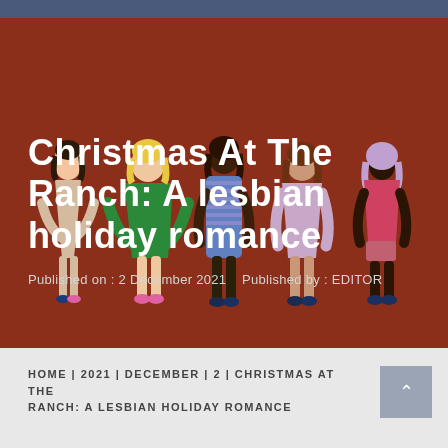[Figure (illustration): Hero banner with dark red/maroon background featuring illustrated women of diverse body types and skin tones standing together in colorful outfits]
Christmas At The Ranch: A lesbian holiday romance
Published on : 2 December 2021    Published by : EDITOR
HOME | 2021 | DECEMBER | 2 | CHRISTMAS AT THE RANCH: A LESBIAN HOLIDAY ROMANCE